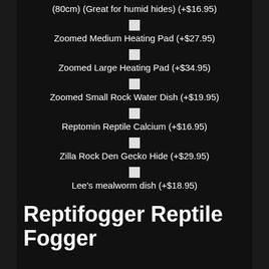(80cm) (Great for humid hides) (+$16.95)
Zoomed Medium Heating Pad (+$27.95)
Zoomed Large Heating Pad (+$34.95)
Zoomed Small Rock Water Dish (+$19.95)
Reptomin Reptile Calcium (+$16.95)
Zilla Rock Den Gecko Hide (+$29.95)
Lee's mealworm dish (+$18.95)
Reptifogger Reptile Fogger